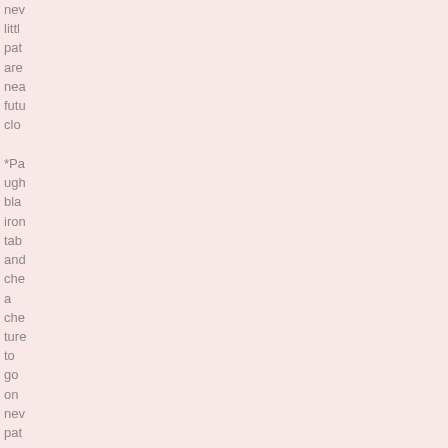nev little pat are nea futu clo *Pa ugh bla iron tab and che a che ture to go on nev pat are